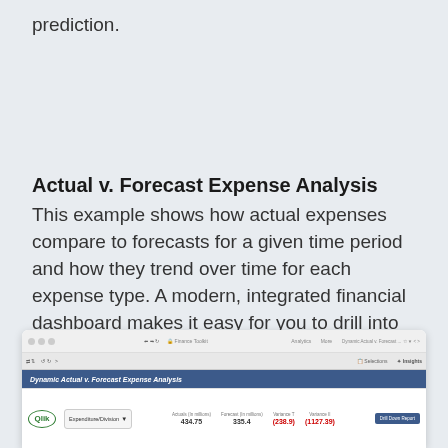prediction.
Actual v. Forecast Expense Analysis
This example shows how actual expenses compare to forecasts for a given time period and how they trend over time for each expense type. A modern, integrated financial dashboard makes it easy for you to drill into this data and gain actionable insights.
[Figure (screenshot): Screenshot of a browser showing the Dynamic Actual v. Forecast Expense Analysis dashboard in Qlik, with a table showing metrics including Actuals (In millions) 434.75, Forecast (In millions) 335.4, Variance T (238.9), Variance II (1127.39), and a drill down button.]